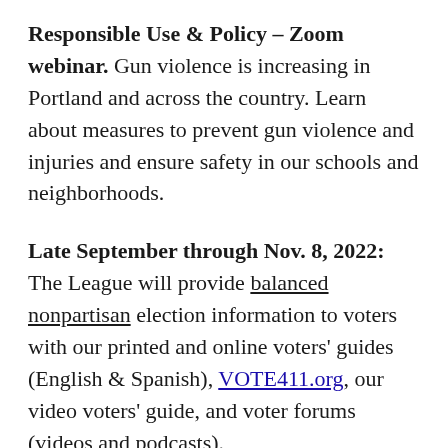Responsible Use & Policy – Zoom webinar. Gun violence is increasing in Portland and across the country. Learn about measures to prevent gun violence and injuries and ensure safety in our schools and neighborhoods.
Late September through Nov. 8, 2022: The League will provide balanced nonpartisan election information to voters with our printed and online voters' guides (English & Spanish), VOTE411.org, our video voters' guide, and voter forums (videos and podcasts).
Recent Events & Recordings
The LWV of Portland Board of Directors has